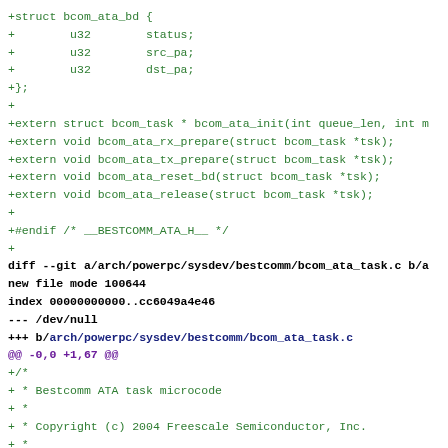+struct bcom_ata_bd {
+		u32			status;
+		u32			src_pa;
+		u32			dst_pa;
+};
+
+extern struct bcom_task * bcom_ata_init(int queue_len, int m
+extern void bcom_ata_rx_prepare(struct bcom_task *tsk);
+extern void bcom_ata_tx_prepare(struct bcom_task *tsk);
+extern void bcom_ata_reset_bd(struct bcom_task *tsk);
+extern void bcom_ata_release(struct bcom_task *tsk);
+
+#endif /* __BESTCOMM_ATA_H__ */
+
diff --git a/arch/powerpc/sysdev/bestcomm/bcom_ata_task.c b/a
new file mode 100644
index 00000000000..cc6049a4e46
--- /dev/null
+++ b/arch/powerpc/sysdev/bestcomm/bcom_ata_task.c
@@ -0,0 +1,67 @@
+/*
+ * Bestcomm ATA task microcode
+ *
+ * Copyright (c) 2004 Freescale Semiconductor, Inc.
+ *